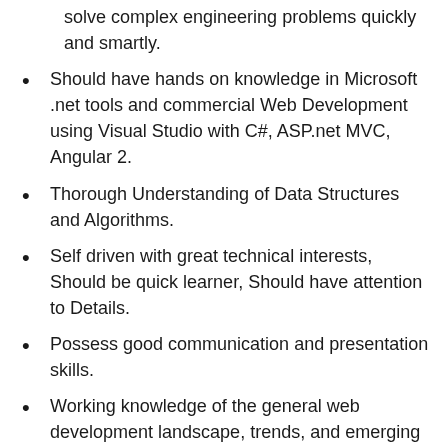solve complex engineering problems quickly and smartly.
Should have hands on knowledge in Microsoft .net tools and commercial Web Development using Visual Studio with C#, ASP.net MVC, Angular 2.
Thorough Understanding of Data Structures and Algorithms.
Self driven with great technical interests, Should be quick learner, Should have attention to Details.
Possess good communication and presentation skills.
Working knowledge of the general web development landscape, trends, and emerging technologies.
Knowledge of JavaScript, AJAX, HTML5, CSS, XML, JQuery) and Oracle or SQL server as